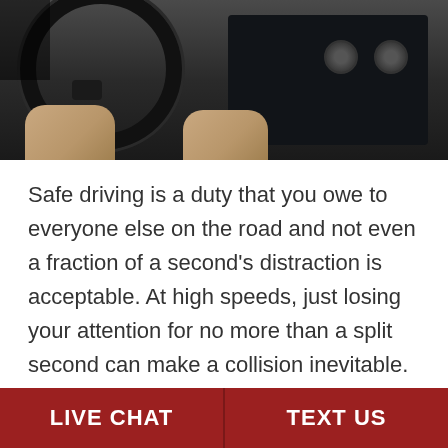[Figure (photo): Close-up photo of a person's hands on a car steering wheel with the dashboard and car radio visible in the background]
Safe driving is a duty that you owe to everyone else on the road and not even a fraction of a second's distraction is acceptable. At high speeds, just losing your attention for no more than a split second can make a collision inevitable. Not only is distracted driving a serious road safety concern for...
Read More
LIVE CHAT   TEXT US